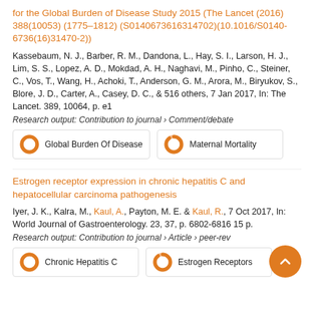for the Global Burden of Disease Study 2015 (The Lancet (2016) 388(10053) (1775–1812) (S0140673616314702)(10.1016/S0140-6736(16)31470-2))
Kassebaum, N. J., Barber, R. M., Dandona, L., Hay, S. I., Larson, H. J., Lim, S. S., Lopez, A. D., Mokdad, A. H., Naghavi, M., Pinho, C., Steiner, C., Vos, T., Wang, H., Achoki, T., Anderson, G. M., Arora, M., Biryukov, S., Blore, J. D., Carter, A., Casey, D. C., & 516 others, 7 Jan 2017, In: The Lancet. 389, 10064, p. e1
Research output: Contribution to journal › Comment/debate
[Figure (infographic): Two keyword badges: 'Global Burden Of Disease' with orange donut icon at 100%, and 'Maternal Mortality' with orange donut icon at ~90%.]
Estrogen receptor expression in chronic hepatitis C and hepatocellular carcinoma pathogenesis
Iyer, J. K., Kalra, M., Kaul, A., Payton, M. E. & Kaul, R., 7 Oct 2017, In: World Journal of Gastroenterology. 23, 37, p. 6802-6816 15 p.
Research output: Contribution to journal › Article › peer-reviewed
[Figure (infographic): Two keyword badges: 'Chronic Hepatitis C' with orange donut icon at 100%, and 'Estrogen Receptors' with orange donut icon at ~90%.]